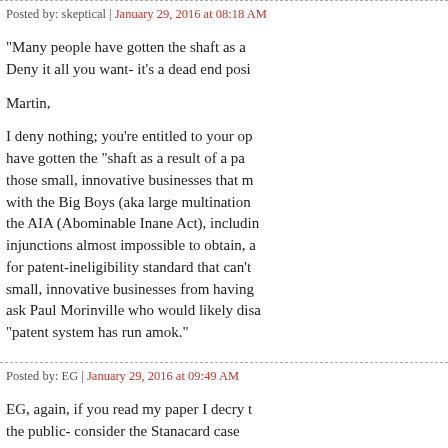Posted by: skeptical | January 29, 2016 at 08:18 AM
"Many people have gotten the shaft as a... Deny it all you want- it's a dead end posi...
Martin,
I deny nothing; you're entitled to your op... have gotten the "shaft as a result of a pa... those small, innovative businesses that m... with the Big Boys (aka large multination... the AIA (Abominable Inane Act), includin... injunctions almost impossible to obtain, a... for patent-ineligibility standard that can't... small, innovative businesses from having... ask Paul Morinville who would likely disa... "patent system has run amok."
Posted by: EG | January 29, 2016 at 09:49 AM
EG, again, if you read my paper I decry t... the public- consider the Stanacard case... was a real improvement- what is likely al...